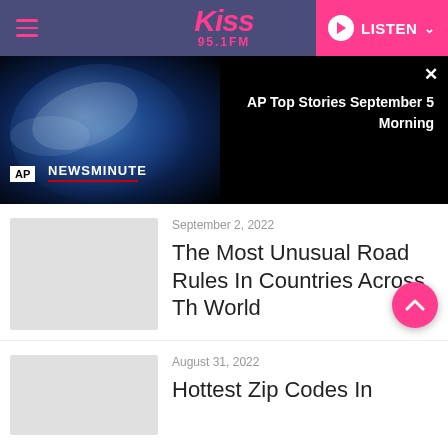Kiss 95.1 FM — LISTEN
[Figure (screenshot): AP Newsminute video thumbnail showing Earth globe with AP and NEWSMINUTE text overlay. Title: AP Top Stories September 5 Morning]
September 2, 2022
The Most Unusual Road Rules In Countries Across The World
August 31, 2022
Hottest Zip Codes In